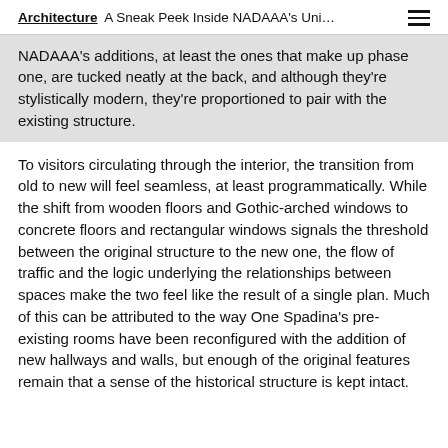Architecture  A Sneak Peek Inside NADAAA's Uni…
NADAAA's additions, at least the ones that make up phase one, are tucked neatly at the back, and although they're stylistically modern, they're proportioned to pair with the existing structure.
To visitors circulating through the interior, the transition from old to new will feel seamless, at least programmatically. While the shift from wooden floors and Gothic-arched windows to concrete floors and rectangular windows signals the threshold between the original structure to the new one, the flow of traffic and the logic underlying the relationships between spaces make the two feel like the result of a single plan. Much of this can be attributed to the way One Spadina's pre-existing rooms have been reconfigured with the addition of new hallways and walls, but enough of the original features remain that a sense of the historical structure is kept intact.